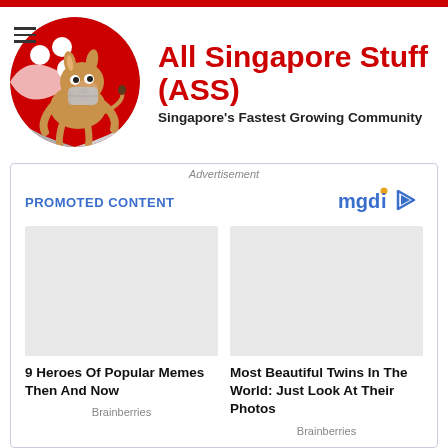[Figure (logo): All Singapore Stuff (ASS) website header with circular logo showing a donkey cartoon on Singapore flag background, site title in red bold text, subtitle in bold black text]
Advertisement
PROMOTED CONTENT
[Figure (logo): mgid logo with play button icon]
[Figure (photo): 9 Heroes Of Popular Memes Then And Now - Brainberries]
[Figure (photo): Most Beautiful Twins In The World: Just Look At Their Photos - Brainberries]